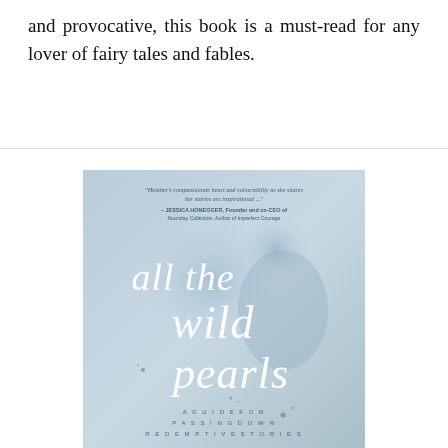and provocative, this book is a must-read for any lover of fairy tales and fables.
[Figure (illustration): Book cover of 'All the Wild Pearls' by Heather. Light blue watercolor background with white script/calligraphic title text 'all the wild pearls' and subtitle 'A GUIDE FOR PASSING DOWN REDEMPTIVE STORIES'. A quote at the top reads: 'Heather's compassionate heart and vulnerability as she shares her stories are inspirational...' - JESSICA HONEGGER, Founder and co-CEO of Noonday Collection, Author of Imperfect Courage.]